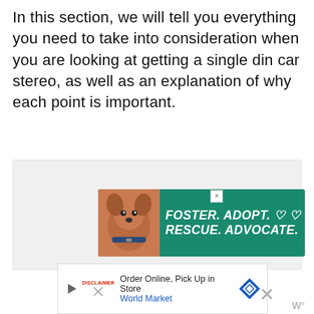In this section, we will tell you everything you need to take into consideration when you are looking at getting a single din car stereo, as well as an explanation of why each point is important.
[Figure (other): Advertisement banner with a dog photo: 'FOSTER. ADOPT. RESCUE. ADVOCATE.' on teal background]
[Figure (other): Advertisement: 'Order Online, Pick Up in Store' for World Market with navigation icon]